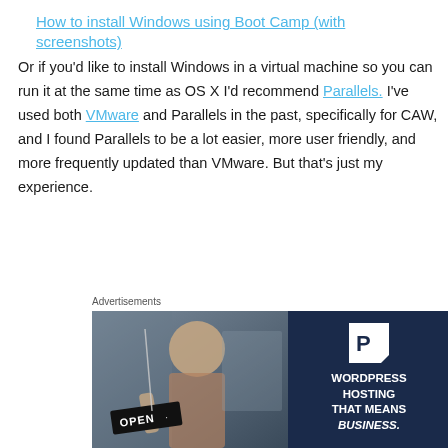How to install Windows using Boot Camp (with screenshots)
Or if you'd like to install Windows in a virtual machine so you can run it at the same time as OS X I'd recommend Parallels. I've used both VMware and Parallels in the past, specifically for CAW, and I found Parallels to be a lot easier, more user friendly, and more frequently updated than VMware. But that's just my experience.
Advertisements
[Figure (photo): Advertisement banner showing a woman smiling and holding an 'OPEN' sign on the left side with a blue background, and on the right side a dark navy background with a 'P' logo icon and text reading 'WORDPRESS HOSTING THAT MEANS BUSINESS.']